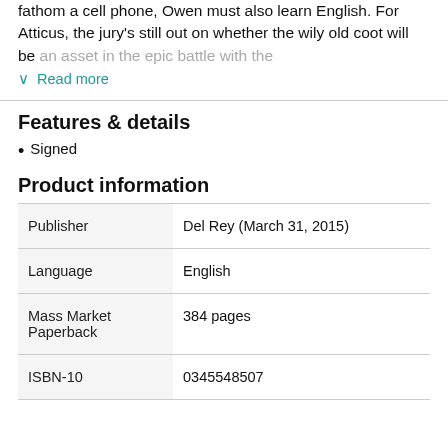fathom a cell phone, Owen must also learn English. For Atticus, the jury's still out on whether the wily old coot will be an asset in the epic battle with the
Read more
Features & details
Signed
Product information
|  |  |
| --- | --- |
| Publisher | Del Rey (March 31, 2015) |
| Language | English |
| Mass Market Paperback | 384 pages |
| ISBN-10 | 0345548507 |